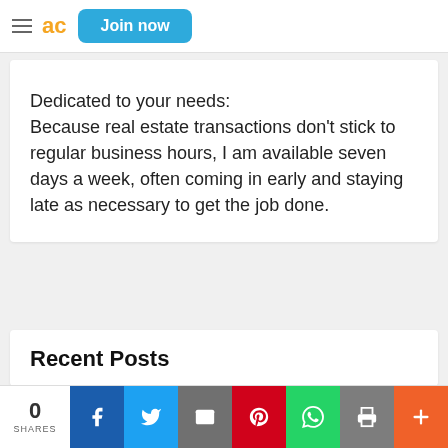ac  Join now
Dedicated to your needs: Because real estate transactions don't stick to regular business hours, I am available seven days a week, often coming in early and staying late as necessary to get the job done.
Recent Posts
0 SHARES  [social share icons: Facebook, Twitter, Email, Pinterest, WhatsApp, Print, More]